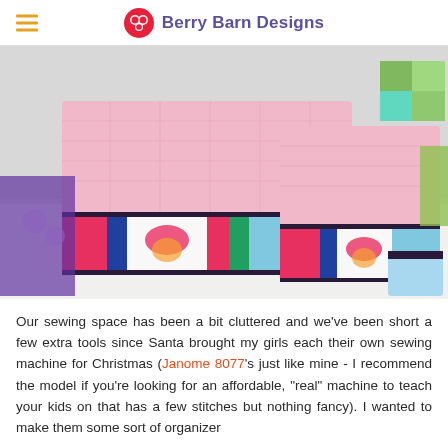Berry Barn Designs
[Figure (photo): Two pink quilted sewing machine covers with colorful patchwork bands featuring butterflies, hot air balloons, and geometric patterns, displayed on a white table in a sewing room.]
Our sewing space has been a bit cluttered and we've been short a few extra tools since Santa brought my girls each their own sewing machine for Christmas (Janome 8077's just like mine - I recommend the model if you're looking for an affordable, "real" machine to teach your kids on that has a few stitches but nothing fancy). I wanted to make them some sort of organizer